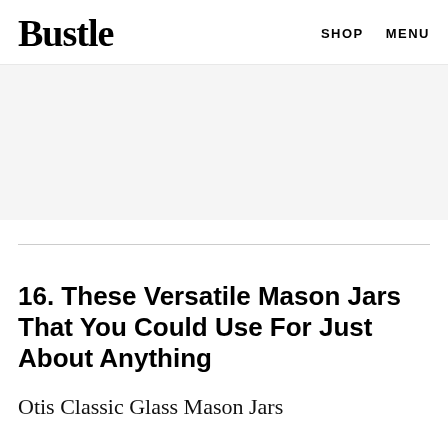Bustle   SHOP   MENU
[Figure (other): Advertisement banner placeholder with light gray background]
16. These Versatile Mason Jars That You Could Use For Just About Anything
Otis Classic Glass Mason Jars